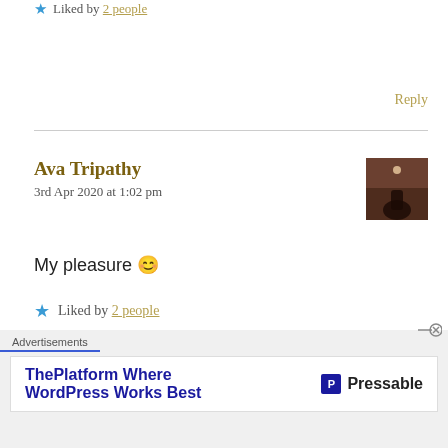★ Liked by 2 people
Reply
Ava Tripathy
3rd Apr 2020 at 1:02 pm
[Figure (photo): Avatar photo of Ava Tripathy — dark silhouette against reddish background]
My pleasure 😊
★ Liked by 2 people
Reply
Advertisements
ThePlatform Where WordPress Works Best — Pressable